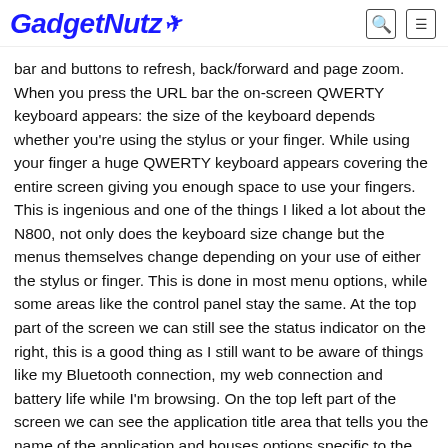GadgetNutz
bar and buttons to refresh, back/forward and page zoom. When you press the URL bar the on-screen QWERTY keyboard appears: the size of the keyboard depends whether you're using the stylus or your finger. While using your finger a huge QWERTY keyboard appears covering the entire screen giving you enough space to use your fingers. This is ingenious and one of the things I liked a lot about the N800, not only does the keyboard size change but the menus themselves change depending on your use of either the stylus or finger. This is done in most menu options, while some areas like the control panel stay the same. At the top part of the screen we can still see the status indicator on the right, this is a good thing as I still want to be aware of things like my Bluetooth connection, my web connection and battery life while I'm browsing. On the top left part of the screen we can see the application title area that tells you the name of the application and houses options specific to the application being used. In the case of the web